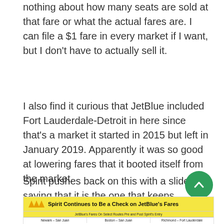nothing about how many seats are sold at that fare or what the actual fares are. I can file a $1 fare in every market if I want, but I don't have to actually sell it.
I also find it curious that JetBlue included Fort Lauderdale-Detroit in here since that's a market it started in 2015 but left in January 2019. Apparently it was so good at lowering fares that it booted itself from the market.
Spirit pushes back on this with a slide saying that it is the one that keeps JetBlue's fares in check.
[Figure (other): Slide titled 'Spirit Continues to Be a Check on JetBlue's Fares' showing a table with JetBlue's fares on select routes pre and post Spirit's entry, for Newark-San Juan, Boston-San Juan, and Richmond-Fort Lauderdale routes.]